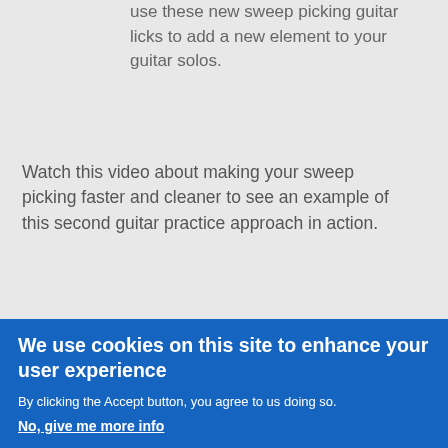use these new sweep picking guitar licks to add a new element to your guitar solos.
Watch this video about making your sweep picking faster and cleaner to see an example of this second guitar practice approach in action.
[Figure (screenshot): YouTube video thumbnail showing a guitarist playing, with title 'Clean Up Your ...' and a red play button in the center.]
Check out the tab for the 5 string
We use cookies on this site to enhance your user experience
By clicking the Accept button, you agree to us doing so.
No, give me more info